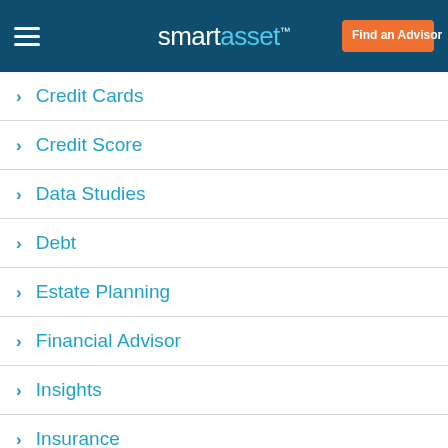smartasset™ — Find an Advisor
Credit Cards
Credit Score
Data Studies
Debt
Estate Planning
Financial Advisor
Insights
Insurance
Investing
Life Insurance